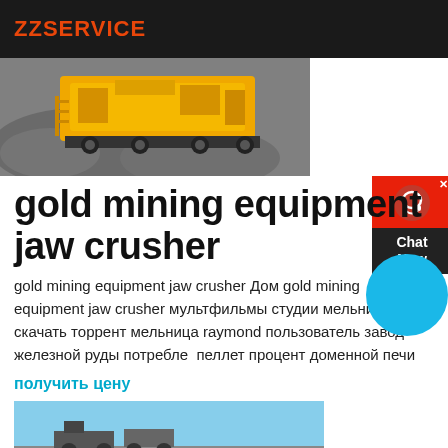ZZSERVICE
[Figure (photo): Yellow mobile jaw crusher machine on a gravel/rock pile outdoors]
gold mining equipment jaw crusher
gold mining equipment jaw crusher Дом gold mining equipment jaw crusher мультфильмы студии мельница скачать торрент мельница raymond пользователь завод железной руды потребление пеллет процент доменной печи
получить цену
[Figure (photo): Mining equipment or trucks photographed against a blue sky background]